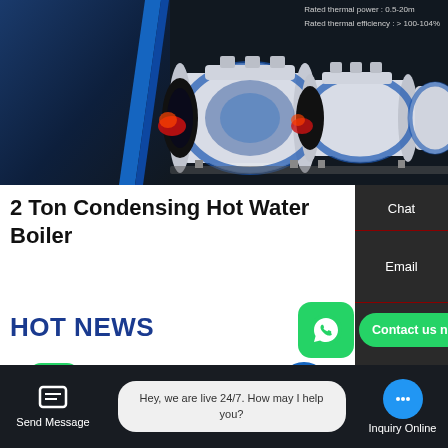[Figure (photo): Dark background banner showing industrial condensing hot water boilers – three white cylindrical boiler units with blue rings and red/orange burner openings, displayed against dark background. Blue architectural structure visible on left. Text overlay shows rated specifications.]
Rated thermal power : 0.5-20m
Rated thermal efficiency : > 100-104%
2 Ton Condensing Hot Water Boiler
Chat
Email
Contact
HOT NEWS
Contact us now!
m
Contact us now!
aler
Send Message
Hey, we are live 24/7. How may I help you?
Inquiry Online